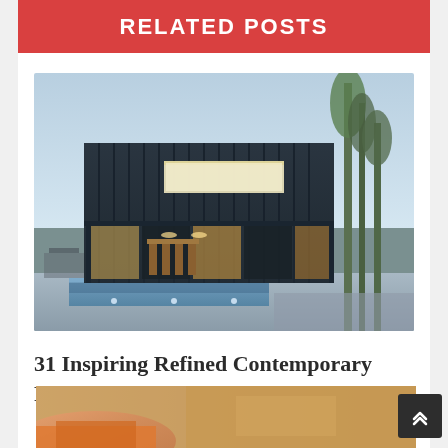RELATED POSTS
[Figure (photo): Modern dark contemporary house with large glass windows, pool, and tall trees at dusk]
31 Inspiring Refined Contemporary Family Home Victoria ...
[Figure (photo): Partial view of a second related post image showing warm tones, cropped at bottom of page]